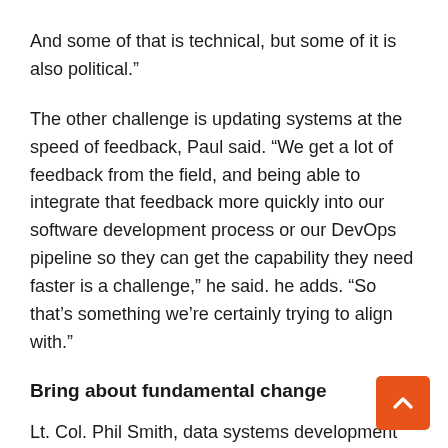And some of that is technical, but some of it is also political.”
The other challenge is updating systems at the speed of feedback, Paul said. “We get a lot of feedback from the field, and being able to integrate that feedback more quickly into our software development process or our DevOps pipeline so they can get the capability they need faster is a challenge,” he said. he adds. “So that’s something we’re certainly trying to align with.”
Bring about fundamental change
Lt. Col. Phil Smith, data systems development